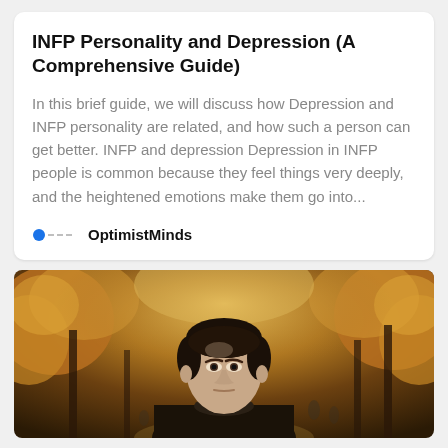INFP Personality and Depression (A Comprehensive Guide)
In this brief guide, we will discuss how Depression and INFP personality are related, and how such a person can get better. INFP and depression Depression in INFP people is common because they feel things very deeply, and the heightened emotions make them go into...
OptimistMinds
[Figure (photo): A young man with dark hair looking directly at the camera with a serious expression, standing outdoors in an autumn park setting with blurred orange and brown foliage in the background.]